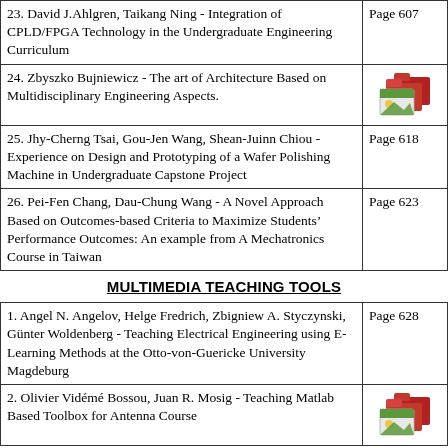| Entry | Page |
| --- | --- |
| 23. David J.Ahlgren, Taikang Ning - Integration of CPLD/FPGA Technology in the Undergraduate Engineering Curriculum | Page 607 |
| 24. Zbyszko Bujniewicz - The art of Architecture Based on Multidisciplinary Engineering Aspects. | [icon] |
| 25. Jhy-Cherng Tsai, Gou-Jen Wang, Shean-Juinn Chiou - Experience on Design and Prototyping of a Wafer Polishing Machine in Undergraduate Capstone Project | Page 618 |
| 26. Pei-Fen Chang, Dau-Chung Wang - A Novel Approach Based on Outcomes-based Criteria to Maximize Students’ Performance Outcomes: An example from A Mechatronics Course in Taiwan | Page 623 |
MULTIMEDIA TEACHING TOOLS
| Entry | Page |
| --- | --- |
| 1. Angel N. Angelov, Helge Fredrich, Zbigniew A. Styczynski, Günter Woldenberg - Teaching Electrical Engineering using E-Learning Methods at the Otto-von-Guericke University Magdeburg | Page 628 |
| 2. Olivier Vidémé Bossou, Juan R. Mosig - Teaching Matlab Based Toolbox for Antenna Course | [icon] |